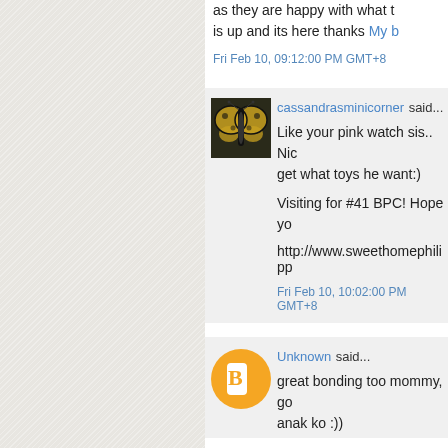as they are happy with what t… is up and its here thanks My b…
Fri Feb 10, 09:12:00 PM GMT+8
cassandrasminicorner said...
Like your pink watch sis.. Nic… get what toys he want:)
Visiting for #41 BPC! Hope yo…
http://www.sweethomephilipp…
Fri Feb 10, 10:02:00 PM GMT+8
Unknown said...
great bonding too mommy, go… anak ko :))